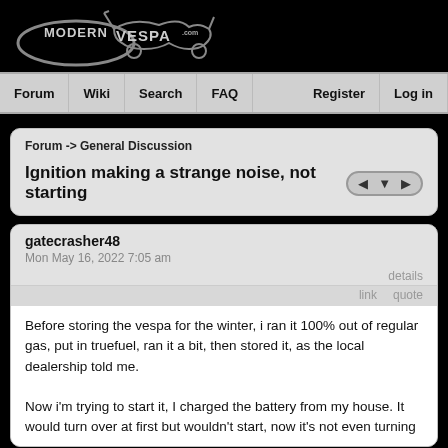[Figure (logo): ModernVespa.com logo with stylized scooter illustration on black background]
Forum | Wiki | Search | FAQ | Register | Log in
Forum -> General Discussion
Ignition making a strange noise, not starting
gatecrasher48
Mon May 16, 2022 7:05 am
details
link   quote
Before storing the vespa for the winter, i ran it 100% out of regular gas, put in truefuel, ran it a bit, then stored it, as the local dealership told me.

Now i'm trying to start it, I charged the battery from my house. It would turn over at first but wouldn't start, now it's not even turning